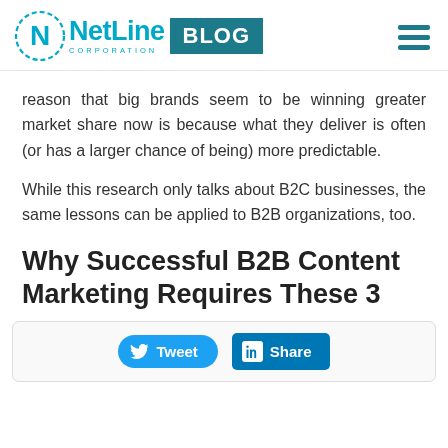NetLine Corporation BLOG
reason that big brands seem to be winning greater market share now is because what they deliver is often (or has a larger chance of being) more predictable.
While this research only talks about B2C businesses, the same lessons can be applied to B2B organizations, too.
Why Successful B2B Content Marketing Requires These 3
[Figure (other): Social sharing bar with Tweet and Share buttons]